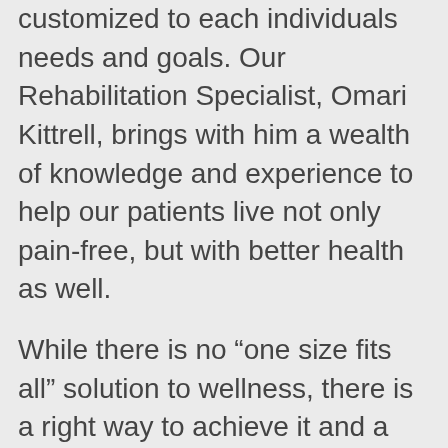customized to each individuals needs and goals. Our Rehabilitation Specialist, Omari Kittrell, brings with him a wealth of knowledge and experience to help our patients live not only pain-free, but with better health as well.
While there is no “one size fits all” solution to wellness, there is a right way to achieve it and a wrong way. The wrong way is believing that there is a quick fix to things like losing weight. The wrong way is believing that what worked for a friend will also work for you. The wrong way is also not addressing your whole self, but only a single facet such as weight.
The right way is understanding how intricately related each system in your body is. How pain, for example, can affect your sleep, your weight,